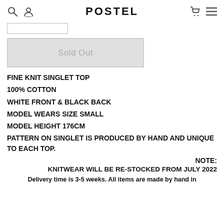POSTEL
Sold Out
FINE KNIT SINGLET TOP
100% COTTON
WHITE FRONT & BLACK BACK
MODEL WEARS SIZE SMALL
MODEL HEIGHT 176CM
PATTERN ON SINGLET IS PRODUCED BY HAND AND UNIQUE TO EACH TOP.
NOTE:
KNITWEAR WILL BE RE-STOCKED FROM JULY 2022
Delivery time is 3-5 weeks. All items are made by hand in